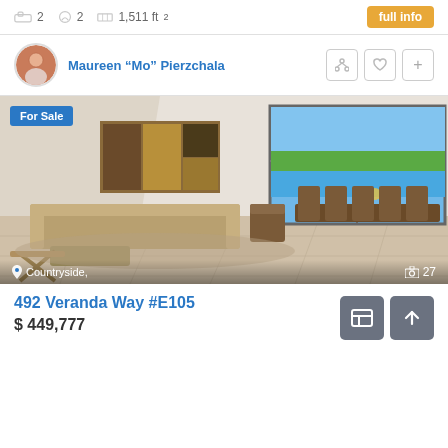2  2  1,511 ft²
full info
Maureen "Mo" Pierzchala
[Figure (photo): Interior room photo showing a modern living/dining area with beige leather sectional sofa, abstract art on wall, floor-to-ceiling sliding glass doors opening to a waterfront view with green landscape. Location overlay: Countryside,  Photo count: 27.]
For Sale
Countryside,
27
492 Veranda Way #E105
$ 449,777